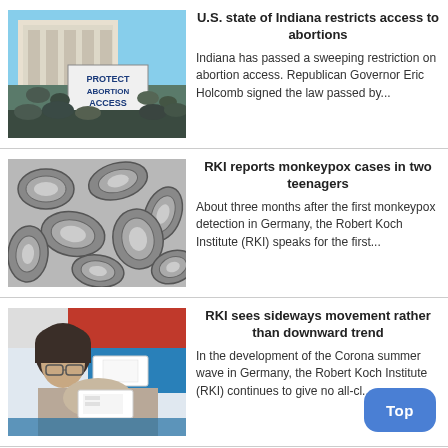[Figure (photo): Protest crowd with sign reading PROTECT ABORTION ACCESS in front of a government building]
U.S. state of Indiana restricts access to abortions
Indiana has passed a sweeping restriction on abortion access. Republican Governor Eric Holcomb signed the law passed by...
[Figure (photo): Electron microscope image of monkeypox virus particles, grayscale]
RKI reports monkeypox cases in two teenagers
About three months after the first monkeypox detection in Germany, the Robert Koch Institute (RKI) speaks for the first...
[Figure (photo): Person with dark hair holding a COVID test kit, wearing glasses, with red and blue materials visible]
RKI sees sideways movement rather than downward trend
In the development of the Corona summer wave in Germany, the Robert Koch Institute (RKI) continues to give no all-cl...